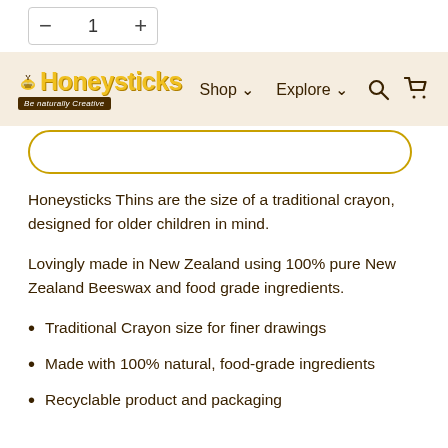— 1 +
[Figure (screenshot): Honeysticks navigation bar with logo, Shop and Explore dropdowns, search and cart icons on a beige background]
Honeysticks Thins are the size of a traditional crayon, designed for older children in mind.
Lovingly made in New Zealand using 100% pure New Zealand Beeswax and food grade ingredients.
Traditional Crayon size for finer drawings
Made with 100% natural, food-grade ingredients
Recyclable product and packaging